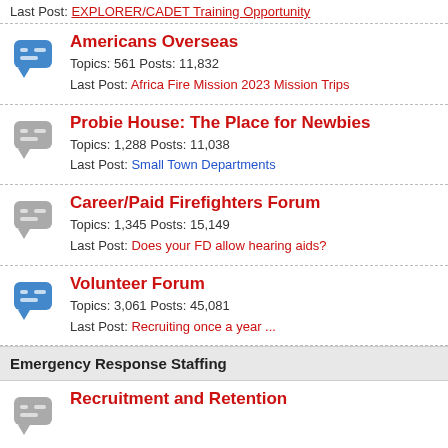Last Post: EXPLORER/CADET Training Opportunity
Americans Overseas
Topics: 561 Posts: 11,832
Last Post: Africa Fire Mission 2023 Mission Trips
Probie House: The Place for Newbies
Topics: 1,288 Posts: 11,038
Last Post: Small Town Departments
Career/Paid Firefighters Forum
Topics: 1,345 Posts: 15,149
Last Post: Does your FD allow hearing aids?
Volunteer Forum
Topics: 3,061 Posts: 45,081
Last Post: Recruiting once a year ...
Emergency Response Staffing
Recruitment and Retention